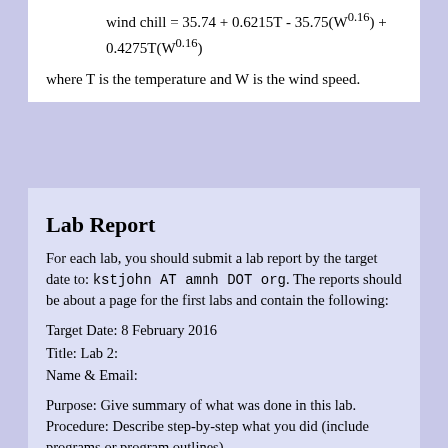where T is the temperature and W is the wind speed.
Lab Report
For each lab, you should submit a lab report by the target date to: kstjohn AT amnh DOT org. The reports should be about a page for the first labs and contain the following:
Target Date: 8 February 2016
Title: Lab 2:
Name & Email:
Purpose: Give summary of what was done in this lab.
Procedure: Describe step-by-step what you did (include programs or program outlines).
Results: If applicable, show all data collected. Including screen shots is fine (can capture via the Grab program).
Discussion: Give a short explanation and interpretation of